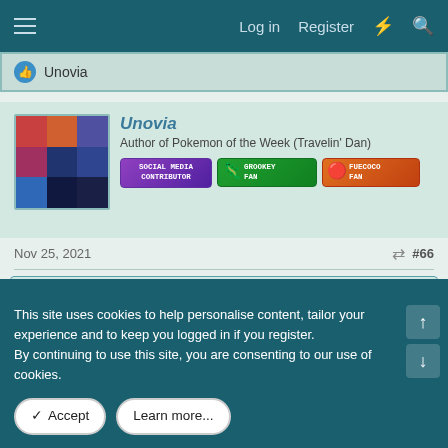Log in  Register
👍 Unovia
Unovia
Author of Pokemon of the Week (Travelin' Dan)
SOCIAL MEDIA CONTRIBUTOR  GROOKEY FAN  FUECOCO FAN
Nov 25, 2021  #66
Greninjaman said: ↑
By the way, have you noticed my newest challenge adventure?
I had not yet.
This site uses cookies to help personalise content, tailor your experience and to keep you logged in if you register.
By continuing to use this site, you are consenting to our use of cookies.
✓ Accept  Learn more...